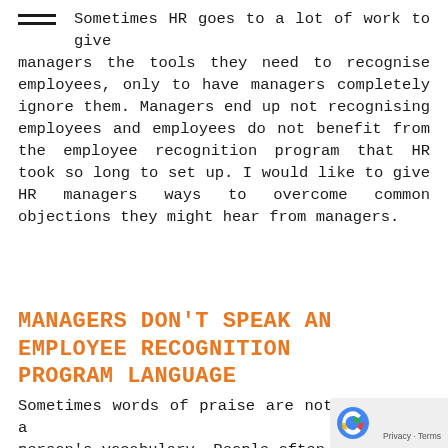Sometimes HR goes to a lot of work to give managers the tools they need to recognise employees, only to have managers completely ignore them. Managers end up not recognising employees and employees do not benefit from the employee recognition program that HR took so long to set up. I would like to give HR managers ways to overcome common objections they might hear from managers.
MANAGERS DON'T SPEAK AN EMPLOYEE RECOGNITION PROGRAM LANGUAGE
Sometimes words of praise are not a part of a person's vocabulary. People often have to learn employee recognition program phrases